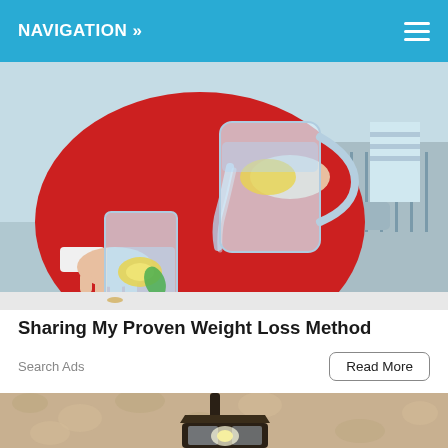NAVIGATION »
[Figure (photo): Person in red sweater pouring water with lemon and mint from a clear pitcher into a glass on a white surface, with outdoor patio in background]
Sharing My Proven Weight Loss Method
Search Ads
Read More
[Figure (photo): Outdoor wall-mounted black lantern light fixture against a sandy textured stucco wall]